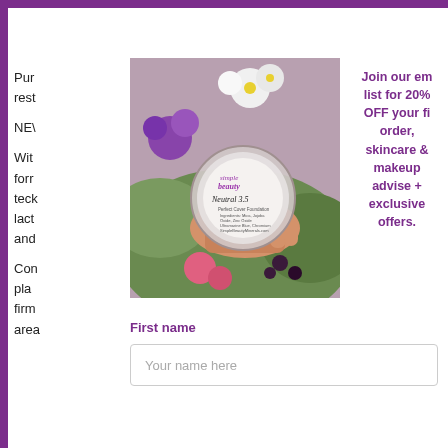Pur rest NE… Wit form tech lact and Com pla firm area
[Figure (photo): A hand holding a small round jar of Simple Beauty minerals 'Neutral 3.5' Perfect Cover Foundation against a background of colorful flowers (purple, white, pink, green).]
Join our email list for 20% OFF your first order, skincare & makeup advise + exclusive offers.
First name
Your name here